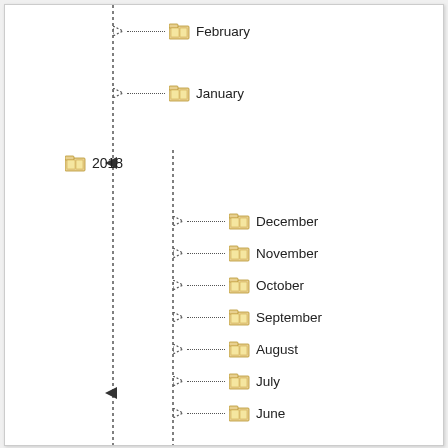[Figure (screenshot): File browser tree view showing folder hierarchy by year (2017, 2018) and months. Shows 2018 expanded with months December through January, and 2017 expanded showing December at bottom. Also shows February and January at top (from a previous year). Dotted lines connect parent folders to child month folders.]